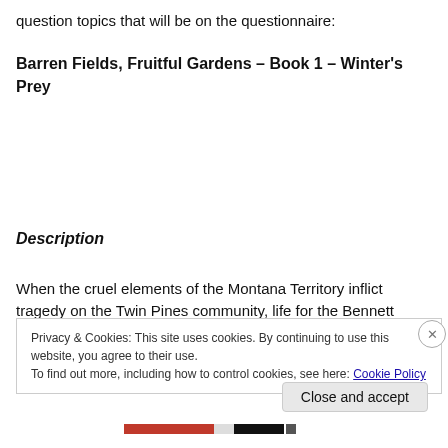question topics that will be on the questionnaire:
Barren Fields, Fruitful Gardens – Book 1 – Winter's Prey
Description
When the cruel elements of the Montana Territory inflict tragedy on the Twin Pines community, life for the Bennett
Privacy & Cookies: This site uses cookies. By continuing to use this website, you agree to their use.
To find out more, including how to control cookies, see here: Cookie Policy
Close and accept